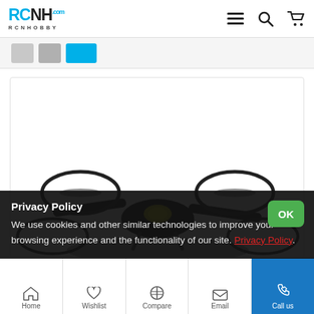[Figure (logo): RCNHOBBY logo with blue and black text]
[Figure (screenshot): Pagination strip with gray and blue buttons]
[Figure (photo): Dark quadcopter drone photographed from front/below against white background]
Privacy Policy
We use cookies and other similar technologies to improve your browsing experience and the functionality of our site. Privacy Policy.
Home  Wishlist  Compare  Email  Call us